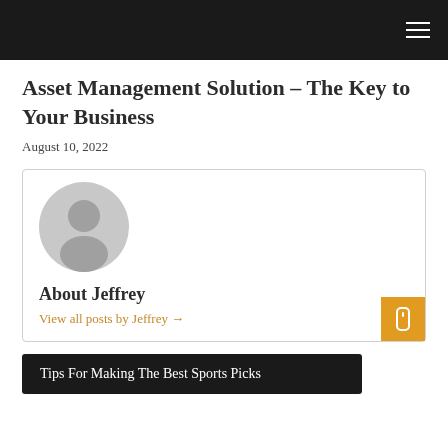Asset Management Solution – The Key to Your Business
August 10, 2022
[Figure (illustration): Author avatar card with generic grey profile icon, 'About Jeffrey' heading, and 'View all posts by Jeffrey →' link in orange. Orange scroll-to-top button at bottom right of card.]
Tips For Making The Best Sports Picks